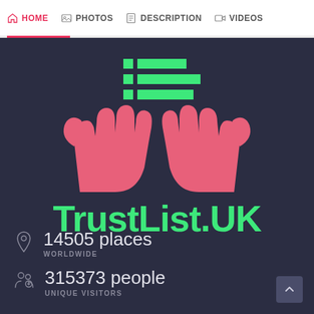HOME  PHOTOS  DESCRIPTION  VIDEOS
[Figure (logo): TrustList.UK logo with two pink hands raised upward and green list/lines icon above, on dark navy background. Green text reads TrustList.UK]
14505 places
WORLDWIDE
315373 people
UNIQUE VISITORS